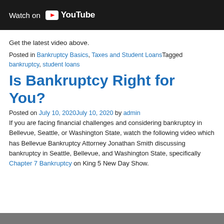[Figure (screenshot): YouTube video embed showing 'Watch on YouTube' bar at the top of the page]
Get the latest video above.
Posted in Bankruptcy Basics, Taxes and Student LoansTagged bankruptcy, student loans
Is Bankruptcy Right for You?
Posted on July 10, 2020July 10, 2020 by admin
If you are facing financial challenges and considering bankruptcy in Bellevue, Seattle, or Washington State, watch the following video which has Bellevue Bankruptcy Attorney Jonathan Smith discussing bankruptcy in Seattle, Bellevue, and Washington State, specifically Chapter 7 Bankruptcy on King 5 New Day Show.
[Figure (screenshot): Bottom gray bar, partial image at bottom of page]